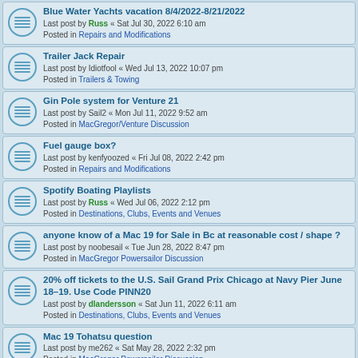Blue Water Yachts vacation 8/4/2022-8/21/2022
Last post by Russ « Sat Jul 30, 2022 6:10 am
Posted in Repairs and Modifications
Trailer Jack Repair
Last post by Idiotfool « Wed Jul 13, 2022 10:07 pm
Posted in Trailers & Towing
Gin Pole system for Venture 21
Last post by Sail2 « Mon Jul 11, 2022 9:52 am
Posted in MacGregor/Venture Discussion
Fuel gauge box?
Last post by kenfyoozed « Fri Jul 08, 2022 2:42 pm
Posted in Repairs and Modifications
Spotify Boating Playlists
Last post by Russ « Wed Jul 06, 2022 2:12 pm
Posted in Destinations, Clubs, Events and Venues
anyone know of a Mac 19 for Sale in Bc at reasonable cost / shape ?
Last post by noobesail « Tue Jun 28, 2022 8:47 pm
Posted in MacGregor Powersailor Discussion
20% off tickets to the U.S. Sail Grand Prix Chicago at Navy Pier June 18–19. Use Code PINN20
Last post by dlandersson « Sat Jun 11, 2022 6:11 am
Posted in Destinations, Clubs, Events and Venues
Mac 19 Tohatsu question
Last post by me262 « Sat May 28, 2022 2:32 pm
Posted in MacGregor Powersailor Discussion